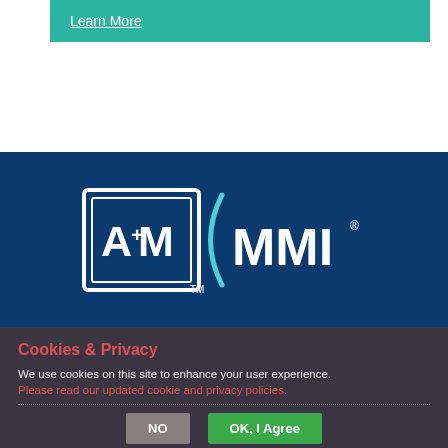Learn More
[Figure (logo): A4M and MMI logos on dark blue background. A4M logo shows a square icon with A+M text, MMI logo shows MMI text with a curved swoosh element.]
Cookies & Privacy
We use cookies on this site to enhance your user experience. Please read our updated cookie and privacy policies.
NO   OK, I Agree